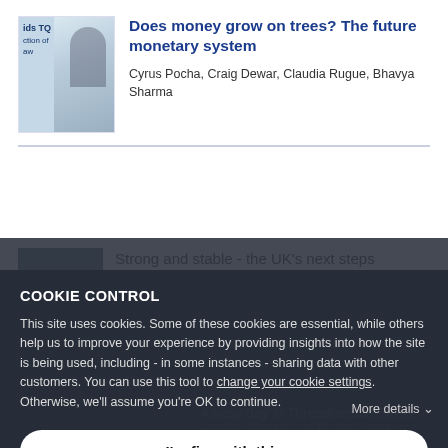[Figure (photo): Thumbnail image showing a person holding a phone, with 'ids TQ' text and partial description visible on the left, person silhouette on right]
Does money grow on trees? The future monetary system
Cyrus Pocha, Craig Dewar, Claudia Rugue, Bhavya Sharma
Strong and stable - the UK's next steps towards stablecoin regulation (and other developments)
a timely warning to insurance firms
COOKIE CONTROL
This site uses cookies. Some of these cookies are essential, while others help us to improve your experience by providing insights into how the site is being used, including - in some instances - sharing data with other customers. You can use this tool to change your cookie settings. Otherwise, we'll assume you're OK to continue.
I'm fine with this
More details
A busy day in Threadneedle Street means good news for new and existing holders